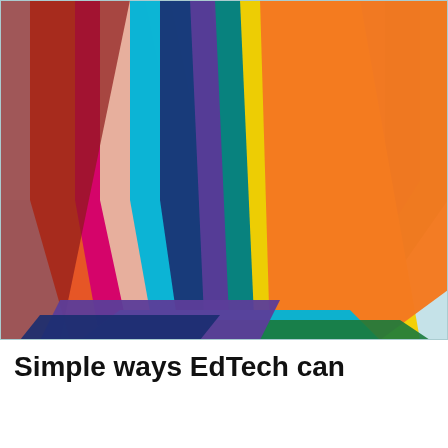[Figure (photo): A fan of colorful rectangular paper sheets spread out on a light blue-white surface. Colors visible include orange (top/dominant), yellow, green, teal/cyan, navy blue, purple, magenta/pink, red, dark red/maroon, light pink/peach, and dark green in the background right corner.]
Simple ways EdTech can